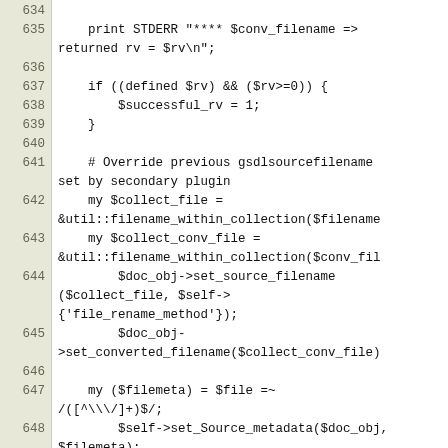Code listing lines 634-648, Perl source code
634: (empty)
635:     print STDERR "**** $conv_filename => returned rv = $rv\n";
636: (empty)
637:     if ((defined $rv) && ($rv>=0)) {
638:         $successful_rv = 1;
639:     }
640: (empty)
641:     # Override previous gsdlsourcefilename set by secondary plugin
642:     my $collect_file = &util::filename_within_collection($filename
643:     my $collect_conv_file = &util::filename_within_collection($conv_fil
644:         $doc_obj->set_source_filename ($collect_file, $self->{'file_rename_method'});
645:         $doc_obj->set_converted_filename($collect_conv_file)
646: (empty)
647:     my ($filemeta) = $file =~ /([^\/]+)$/;
648:     $self->set_Source_metadata($doc_obj, $filemeta);